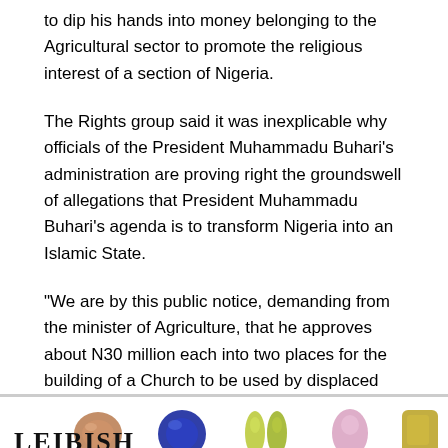to dip his hands into money belonging to the Agricultural sector to promote the religious interest of a section of Nigeria.
The Rights group said it was inexplicable why officials of the President Muhammadu Buhari’s administration are proving right the groundswell of allegations that President Muhammadu Buhari’s agenda is to transform Nigeria into an Islamic State.
“We are by this public notice, demanding from the minister of Agriculture, that he approves about N30 million each into two places for the building of a Church to be used by displaced
[Figure (other): Advertisement banner for LEIBISH jewelry showing five gemstones (brown cushion cut, blue round, two yellow pear shapes, pink pear shape, yellow-green rectangular) with prices: $22,557, $162,408, $6,277, $19,222, $6,650. LEIBISH logo on the left.]